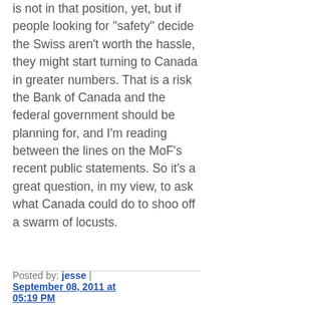is not in that position, yet, but if people looking for "safety" decide the Swiss aren't worth the hassle, they might start turning to Canada in greater numbers. That is a risk the Bank of Canada and the federal government should be planning for, and I'm reading between the lines on the MoF's recent public statements. So it's a great question, in my view, to ask what Canada could do to shoo off a swarm of locusts.
Posted by: jesse | September 08, 2011 at 05:19 PM